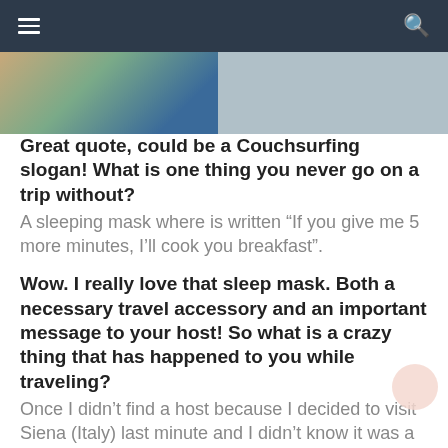Navigation bar with hamburger menu and search icon
[Figure (photo): Partial photo of a person with colorful background, cropped at top edge]
Great quote, could be a Couchsurfing slogan! What is one thing you never go on a trip without?
A sleeping mask where is written “If you give me 5 more minutes, I’ll cook you breakfast”.
Wow. I really love that sleep mask. Both a necessary travel accessory and an important message to your host! So what is a crazy thing that has happened to you while traveling?
Once I didn’t find a host because I decided to visit Siena (Italy) last minute and I didn’t know it was a public holiday and many people were